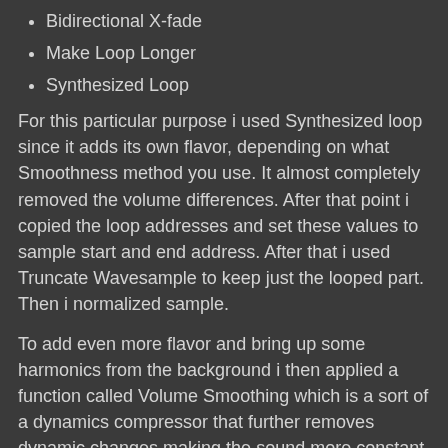Bidirectional X-fade
Make Loop Longer
Synthesized Loop
For this particular purpose i used Synthesized loop since it adds its own flavor, depending on what Smoothness method you use. It almost completely removed the volume differences. After that point i copied the loop addresses and set these values to sample start and end address. After that i used Truncate Wavesample to keep just the looped part. Then i normalized sample.
To add even more flavor and bring up some harmonics from the background i then applied a function called Volume Smoothing which is a sort of a dynamics compressor that further removes dynamic changes making the sound more constant. This function has Smoothness option as well and i've used Fine setting. It took a while for ASR-10 to do the processing.
Now it was time to expand the sound into stereo field. I loaded the last 44.1k effect that comes on OS V3.53 floppy disk which is called “Parallel EFX” and used a